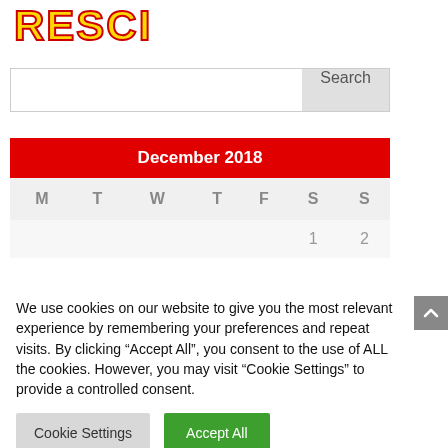[Figure (logo): RESCI logo with yellow letters and red outline/stroke]
[Figure (screenshot): Search bar with text input field and Search button]
| M | T | W | T | F | S | S |
| --- | --- | --- | --- | --- | --- | --- |
|  |  |  |  |  | 1 | 2 |
We use cookies on our website to give you the most relevant experience by remembering your preferences and repeat visits. By clicking “Accept All”, you consent to the use of ALL the cookies. However, you may visit “Cookie Settings” to provide a controlled consent.
Cookie Settings
Accept All